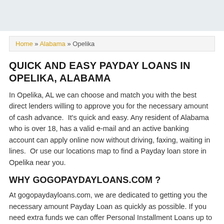Home » Alabama » Opelika
QUICK AND EASY PAYDAY LOANS IN OPELIKA, ALABAMA
In Opelika, AL we can choose and match you with the best direct lenders willing to approve you for the necessary amount of cash advance.  It's quick and easy. Any resident of Alabama who is over 18, has a valid e-mail and an active banking account can apply online now without driving, faxing, waiting in lines.  Or use our locations map to find a Payday loan store in Opelika near you.
WHY GOGOPAYDAYLOANS.COM ?
At gogopaydayloans.com, we are dedicated to getting you the necessary amount Payday Loan as quickly as possible. If you need extra funds we can offer Personal Installment Loans up to $35000 in Opelika, AL as well.